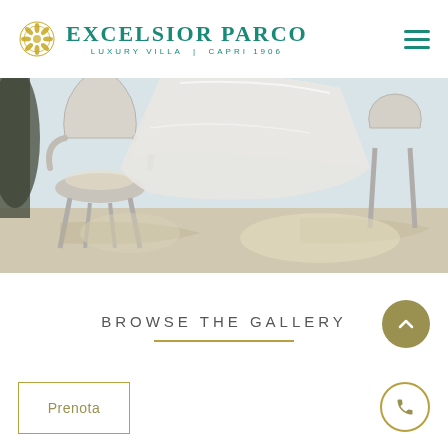Excelsior Parco – Luxury Villa | Capri 1906
[Figure (photo): Outdoor terrace scene with ornate white chairs and white table linen, sunlit patio setting at a luxury villa]
BROWSE THE GALLERY
Prenota
[Figure (other): Scroll to top button – dark gold circle with upward chevron arrow]
[Figure (other): Phone contact button – circle with phone icon]